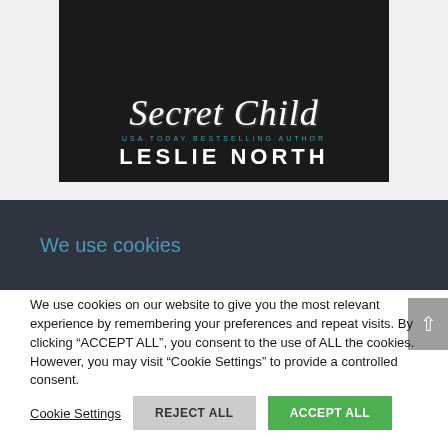[Figure (illustration): Book cover for 'Secret Child' by USA Today Bestselling Author Leslie North. Dark background with script title text and author name in bold white letters, with blue subtitle text.]
We use cookies
We use cookies on our website to give you the most relevant experience by remembering your preferences and repeat visits. By clicking “ACCEPT ALL”, you consent to the use of ALL the cookies. However, you may visit "Cookie Settings" to provide a controlled consent.
Cookie Settings   REJECT ALL   ACCEPT ALL